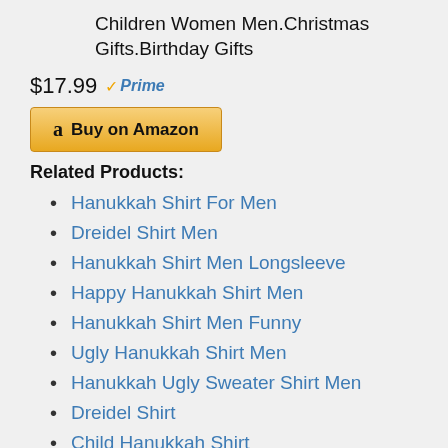Children Women Men.Christmas Gifts.Birthday Gifts
$17.99 Prime
Buy on Amazon
Related Products:
Hanukkah Shirt For Men
Dreidel Shirt Men
Hanukkah Shirt Men Longsleeve
Happy Hanukkah Shirt Men
Hanukkah Shirt Men Funny
Ugly Hanukkah Shirt Men
Hanukkah Ugly Sweater Shirt Men
Dreidel Shirt
Child Hanukkah Shirt
Hanukkah Shirt Running